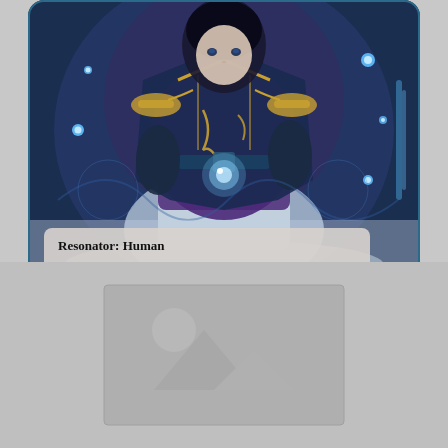[Figure (illustration): Force of Will trading card featuring an anime-style human soldier character in blue and purple military uniform with gold trim, holding a glowing orb. The character stands against a dark blue background with decorative blue glowing dots.]
Resonator: Human
Whenever this card attacks or blocks, reveal the top card of your main deck. If it's a resonator, resonators you control gain [+300/+300] until end of turn. Otherwise, return this card to its owner's hand.
Shion's soldiers don't make mistakes.
ATK 700 / DEF 700
TMS-036 R    ©FORCE OF WILL Co.,Ltd.    Illust/下江クリス
[Figure (other): Gray placeholder image with mountain and photo icon in bottom half of page]